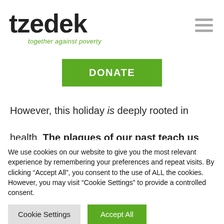[Figure (logo): Tzedek logo with bold black 'tzedek' wordmark and green italic tagline 'together against poverty']
DONATE
However, this holiday is deeply rooted in health. The plagues of our past teach us about
We use cookies on our website to give you the most relevant experience by remembering your preferences and repeat visits. By clicking “Accept All”, you consent to the use of ALL the cookies. However, you may visit "Cookie Settings" to provide a controlled consent.